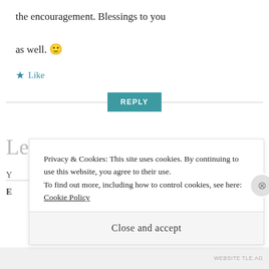the encouragement. Blessings to you as well. 🙂
★ Like
REPLY
Leave a Reply
Privacy & Cookies: This site uses cookies. By continuing to use this website, you agree to their use.
To find out more, including how to control cookies, see here: Cookie Policy
Close and accept